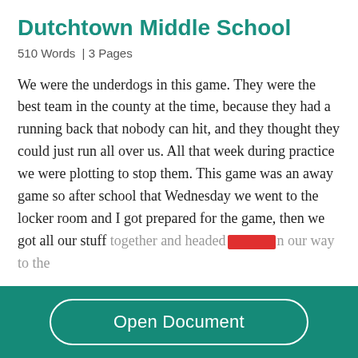Dutchtown Middle School
510 Words | 3 Pages
We were the underdogs in this game. They were the best team in the county at the time, because they had a running back that nobody can hit, and they thought they could just run all over us. All that week during practice we were plotting to stop them. This game was an away game so after school that Wednesday we went to the locker room and I got prepared for the game, then we got all our stuff together and headed [redacted] on our way to the
Open Document